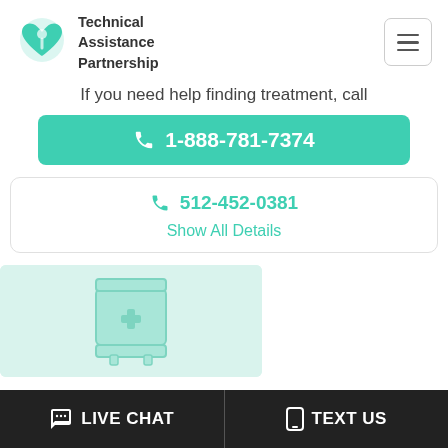Technical Assistance Partnership
If you need help finding treatment, call
1-888-781-7374
512-452-0381
Show All Details
[Figure (illustration): Medical/treatment related icon showing a medicine cabinet or first aid box with a plus sign, light teal color on teal background]
LIVE CHAT
TEXT US